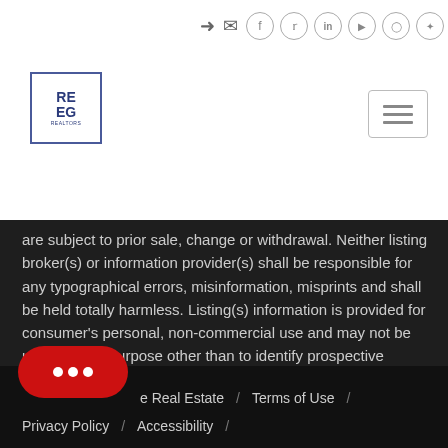[Figure (logo): REEG logo — blue bordered box with letters RE EG stacked]
[Figure (screenshot): Social media icons row: login, email, facebook, twitter, linkedin, youtube, instagram, pinterest]
[Figure (other): Hamburger menu button with three horizontal lines]
are subject to prior sale, change or withdrawal. Neither listing broker(s) or information provider(s) shall be responsible for any typographical errors, misinformation, misprints and shall be held totally harmless. Listing(s) information is provided for consumer's personal, non-commercial use and may not be used for any purpose other than to identify prospective properties consumers may be interested   Show More...
[Figure (other): Red rounded chat button with three dots]
Real Estate / Terms of Use / Privacy Policy / Accessibility /